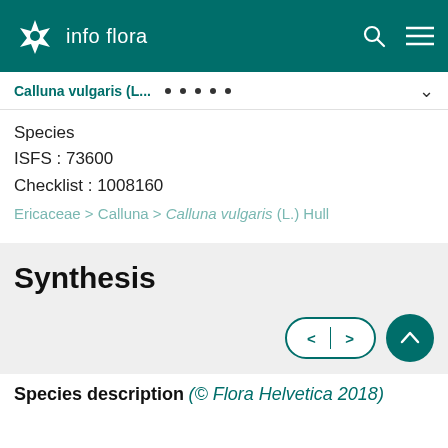info flora
Calluna vulgaris (L...
Species
ISFS : 73600
Checklist : 1008160
Ericaceae > Calluna > Calluna vulgaris (L.) Hull
Synthesis
Species description (© Flora Helvetica 2018)